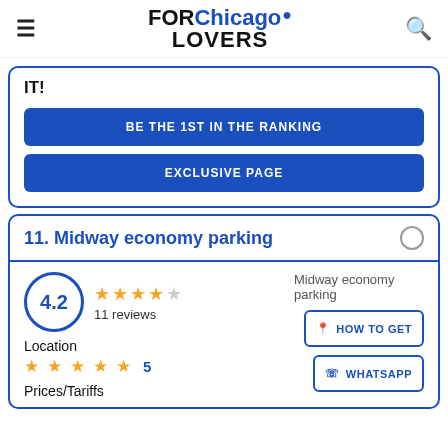FOR Chicago LOVERS
IT!
BE THE 1ST IN THE RANKING
EXCLUSIVE PAGE
11. Midway economy parking
4.2 — 11 reviews
[Figure (photo): Midway economy parking photo placeholder]
Location — 5 stars
Prices/Tariffs
HOW TO GET
WHATSAPP